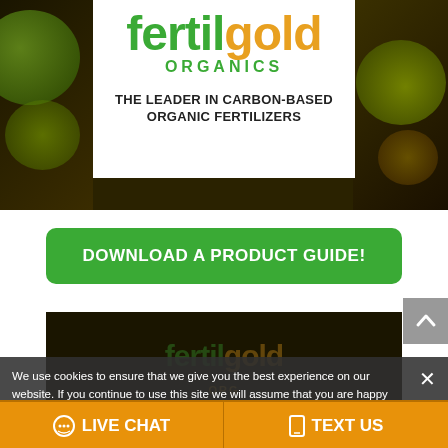[Figure (logo): FertilGold Organics logo — 'fertil' in green, 'gold' in orange/gold, 'ORGANICS' in green below, on white background within a dark nature-themed banner]
THE LEADER IN CARBON-BASED ORGANIC FERTILIZERS
DOWNLOAD A PRODUCT GUIDE!
[Figure (screenshot): Partial thumbnail of a FertilGold video or page, dark background with logo watermark]
We use cookies to ensure that we give you the best experience on our website. If you continue to use this site we will assume that you are happy with it.
LIVE CHAT
TEXT US